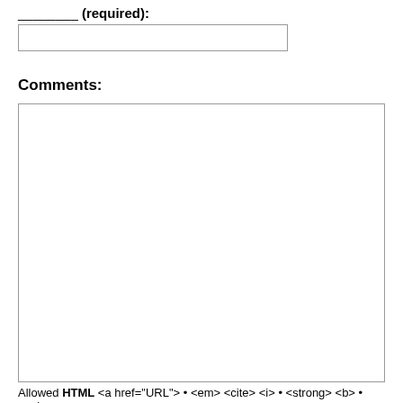________ (required):
[input box]
Comments:
[textarea box]
Allowed HTML <a href="URL"> • <em> <cite> <i> • <strong> <b> • <sub>